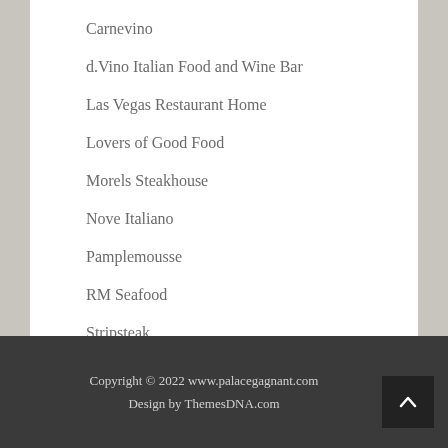Carnevino
d.Vino Italian Food and Wine Bar
Las Vegas Restaurant Home
Lovers of Good Food
Morels Steakhouse
Nove Italiano
Pamplemousse
RM Seafood
Stripsteak
What To Do In Vegas
Copyright © 2022 www.palacegagnant.com
Design by ThemesDNA.com